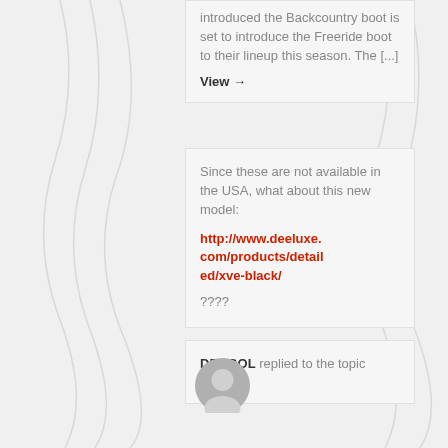introduced the Backcountry boot is set to introduce the Freeride boot to their lineup this season. The [...]
View →
Since these are not available in the USA, what about this new model:
http://www.deeluxe.com/products/detailed/xve-black/
????
DEAGOL replied to the topic where